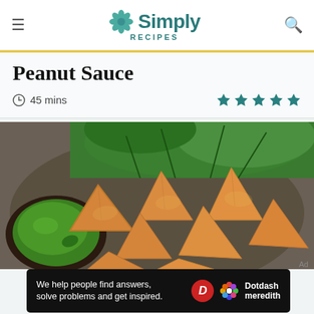Simply Recipes
Peanut Sauce
45 mins
[Figure (photo): A plate of golden-fried samosas arranged on a metal tray with fresh green herbs/cilantro in the background and a green chutney dipping sauce in a bowl to the left]
Ad
We help people find answers, solve problems and get inspired. Dotdash meredith